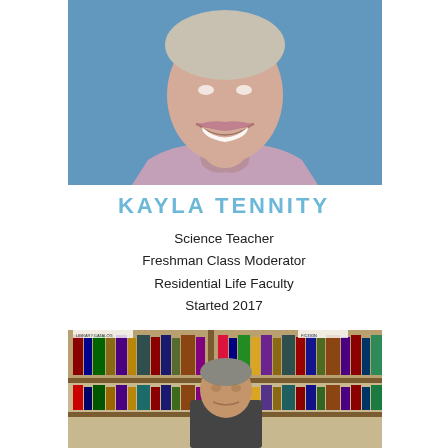[Figure (photo): Portrait photo of Kayla Tennity smiling, wearing a lavender/pink shirt, against a blue background. Upper body/face visible.]
KAYLA TENNITY
Science Teacher
Freshman Class Moderator
Residential Life Faculty
Started 2017
[Figure (photo): Photo of a man standing in front of bookshelves in a library setting, books visible on shelves behind him.]